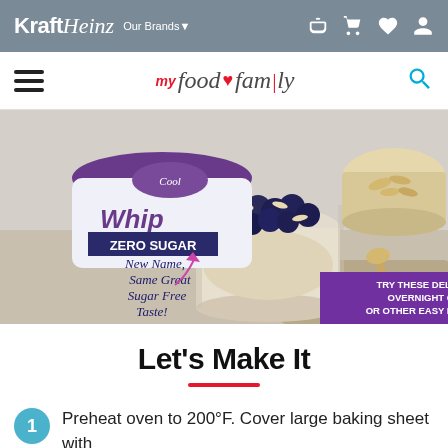KraftHeinz  Our Brands▼
my food and family
[Figure (photo): Advertisement showing Cool Whip Zero Sugar product with a glass of overnight oats topped with blueberries and almonds. Text overlay: 'New Name, Same Great Sugar Free Taste!' and 'TRY THESE DELICIOUS OVERNIGHT OATS OR OTHER EASY RECIPES ›']
Let's Make It
1  Preheat oven to 200°F. Cover large baking sheet with